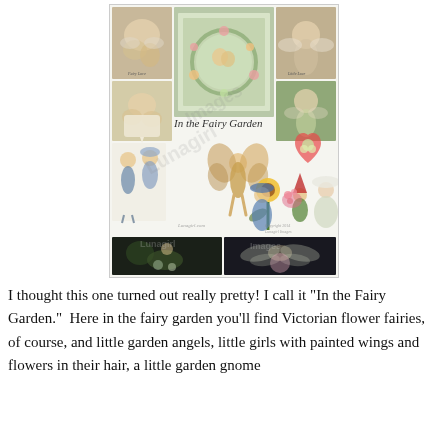[Figure (illustration): A collage of Victorian fairy and angel illustrations titled 'In the Fairy Garden'. Contains multiple vintage images: cherubs, flower fairies, garden angels, a sunflower fairy, a garden gnome, a heart with flowers, and two dark photographic panels of fairies at the bottom. Watermark text 'Lunagirl Images' overlaid.]
I thought this one turned out really pretty! I call it "In the Fairy Garden."  Here in the fairy garden you'll find Victorian flower fairies, of course, and little garden angels, little girls with painted wings and flowers in their hair, a little garden gnome